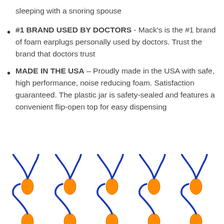sleeping with a snoring spouse
#1 BRAND USED BY DOCTORS - Mack's is the #1 brand of foam earplugs personally used by doctors. Trust the brand that doctors trust
MADE IN THE USA – Proudly made in the USA with safe, high performance, noise reducing foam. Satisfaction guaranteed. The plastic jar is safety-sealed and features a convenient flip-open top for easy dispensing
[Figure (photo): Multiple pairs of orange foam earplugs with blue cords, arranged in rows on a white background]